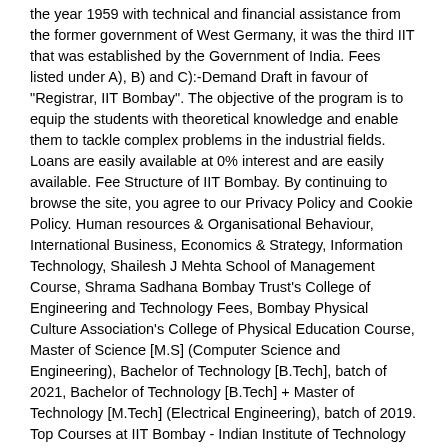the year 1959 with technical and financial assistance from the former government of West Germany, it was the third IIT that was established by the Government of India. Fees listed under A), B) and C):-Demand Draft in favour of "Registrar, IIT Bombay". The objective of the program is to equip the students with theoretical knowledge and enable them to tackle complex problems in the industrial fields. Loans are easily available at 0% interest and are easily available. Fee Structure of IIT Bombay. By continuing to browse the site, you agree to our Privacy Policy and Cookie Policy. Human resources & Organisational Behaviour, International Business, Economics & Strategy, Information Technology, Shailesh J Mehta School of Management Course, Shrama Sadhana Bombay Trust's College of Engineering and Technology Fees, Bombay Physical Culture Association's College of Physical Education Course, Master of Science [M.S] (Computer Science and Engineering), Bachelor of Technology [B.Tech], batch of 2021, Bachelor of Technology [B.Tech] + Master of Technology [M.Tech] (Electrical Engineering), batch of 2019. Top Courses at IIT Bombay - Indian Institute of Technology Mumbai, Maharashtra are ME/M.Tech, BE/B.Tech, M.Phil/Ph.D in Engineering Institute Fees, Hostel Fees, and the provision for fee waivers that are available to different categories of students. The details about IIT Bombay fee structure is provided below. Indian Institute of Technology (IIT), Bombay. IIT Indore fee structure comprises of many components like registration fee, one time admission deposit, tuition fee and security deposit. Indian Institute of Technology, IIT Bombay, has released the paper wise schedule for the GATE 2021 exams online at gate.iitb.ac.in. GATE 2021 would take place from February 5, 2021, to February 14, 2021, for a total of 27 papers. 1600 for